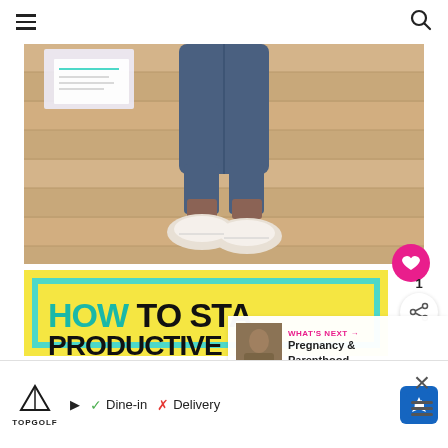≡  🔍
[Figure (photo): Overhead view of a person's legs in jeans and white sneakers sitting on a light wood floor, with papers visible nearby]
[Figure (infographic): Yellow background infographic card with teal border showing text 'HOW TO STAY PRODUCTIVE']
WHAT'S NEXT → Pregnancy & Parenthood ...
[Figure (photo): Small thumbnail image related to Pregnancy and Parenthood article]
▶ TOPGOLF  ✓ Dine-in  ✗ Delivery  [Navigation arrow icon]